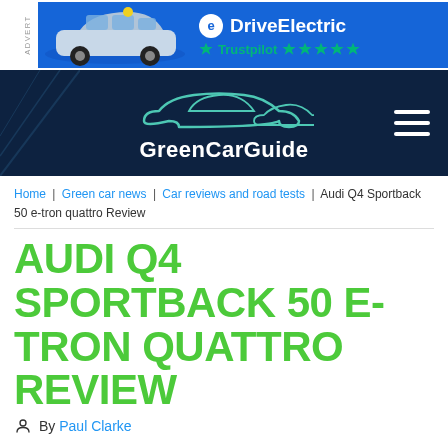[Figure (illustration): DriveElectric advertisement banner with blue background, a silver MINI Electric car, DriveElectric logo, and Trustpilot 5-star rating]
[Figure (logo): GreenCarGuide website logo with car outline silhouette on dark navy background with hamburger menu icon]
Home | Green car news | Car reviews and road tests | Audi Q4 Sportback 50 e-tron quattro Review
AUDI Q4 SPORTBACK 50 E-TRON QUATTRO REVIEW
By Paul Clarke